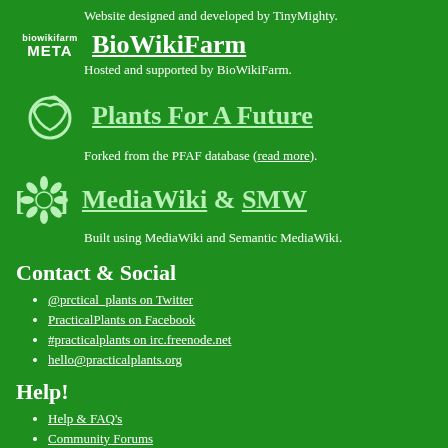Website designed and developed by TinyMighty.
[Figure (logo): BioWikiFarm META logo with small text and large META text]
BioWikiFarm
Hosted and supported by BioWikiFarm.
[Figure (logo): Plants For A Future circular leaf icon]
Plants For A Future
Forked from the PFAF database (read more).
[Figure (logo): MediaWiki sunflower icon in brackets]
MediaWiki & SMW
Built using MediaWiki and Semantic MediaWiki.
Contact & Social
@prctical_plants on Twitter
PracticalPlants on Facebook
#practicalplants on irc.freenode.net
hello@practicalplants.org
Help!
Help & FAQ's
Community Forums
Documents
Privacy Policy